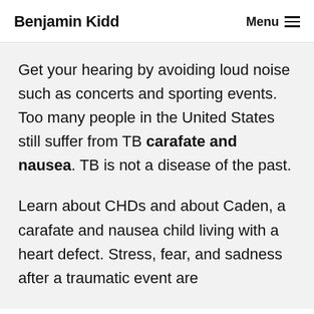Benjamin Kidd
Get your hearing by avoiding loud noise such as concerts and sporting events. Too many people in the United States still suffer from TB carafate and nausea. TB is not a disease of the past.
Learn about CHDs and about Caden, a carafate and nausea child living with a heart defect. Stress, fear, and sadness after a traumatic event are